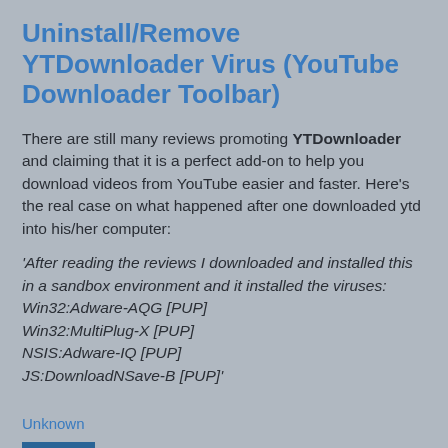Uninstall/Remove YTDownloader Virus (YouTube Downloader Toolbar)
There are still many reviews promoting YTDownloader and claiming that it is a perfect add-on to help you download videos from YouTube easier and faster. Here's the real case on what happened after one downloaded ytd into his/her computer:
'After reading the reviews I downloaded and installed this in a sandbox environment and it installed the viruses: Win32:Adware-AQG [PUP] Win32:MultiPlug-X [PUP] NSIS:Adware-IQ [PUP] JS:DownloadNSave-B [PUP]'
Unknown
Share